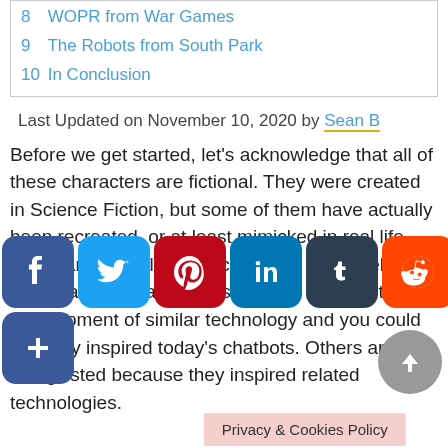8  WOPR from War Games
9  The Robots from South Park
10  In Conclusion
Last Updated on November 10, 2020 by Sean B
Before we get started, let’s acknowledge that all of these characters are fictional. They were created in Science Fiction, but some of them have actually been recreated, or at least mimicked in real life. Some are being listed because the ideas behind them have, in many cases, directly inspired the development of similar technology and you could say they inspired today’s chatbots. Others are being listed because they inspired related technologies.
[Figure (infographic): Social sharing icon bar: Facebook, Twitter, Pinterest, LinkedIn, Tumblr, Reddit, Email, and a plus/add button, overlaid on the article text]
Privacy & Cookies Policy